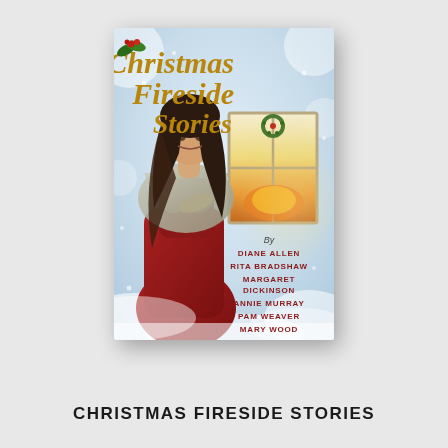[Figure (illustration): Book cover of 'Christmas Fireside Stories' featuring a young woman in a red dress and grey shawl standing in a snowy scene, looking over her shoulder, with a cozy fireplace visible through a window behind her. The title is written in gold italic script. Authors listed: Diane Allen, Rita Bradshaw, Margaret Dickinson, Annie Murray, Pam Weaver, Mary Wood.]
CHRISTMAS FIRESIDE STORIES